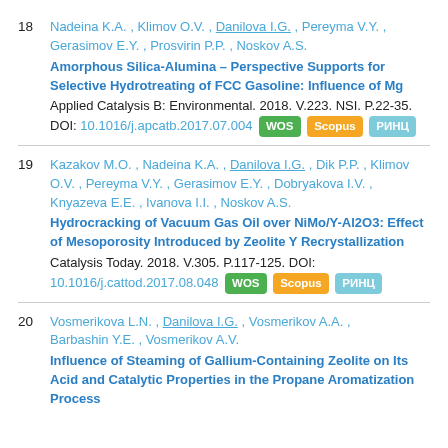18 Nadeina K.A. , Klimov O.V. , Danilova I.G. , Pereyma V.Y. , Gerasimov E.Y. , Prosvirin P.P. , Noskov A.S. Amorphous Silica-Alumina – Perspective Supports for Selective Hydrotreating of FCC Gasoline: Influence of Mg Applied Catalysis B: Environmental. 2018. V.223. NSI. P.22-35. DOI: 10.1016/j.apcatb.2017.07.004 WOS Scopus РИНЦ
19 Kazakov M.O. , Nadeina K.A. , Danilova I.G. , Dik P.P. , Klimov O.V. , Pereyma V.Y. , Gerasimov E.Y. , Dobryakova I.V. , Knyazeva E.E. , Ivanova I.I. , Noskov A.S. Hydrocracking of Vacuum Gas Oil over NiMo/Y-Al2O3: Effect of Mesoporosity Introduced by Zeolite Y Recrystallization Catalysis Today. 2018. V.305. P.117-125. DOI: 10.1016/j.cattod.2017.08.048 WOS Scopus РИНЦ
20 Vosmerikova L.N. , Danilova I.G. , Vosmerikov A.A. , Barbashin Y.E. , Vosmerikov A.V. Influence of Steaming of Gallium-Containing Zeolite on Its Acid and Catalytic Properties in the Propane Aromatization Process